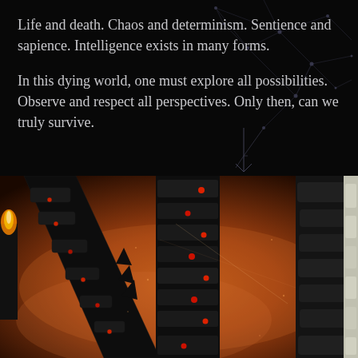Life and death. Chaos and determinism. Sentience and sapience. Intelligence exists in many forms.

In this dying world, one must explore all possibilities. Observe and respect all perspectives. Only then, can we truly survive.
[Figure (illustration): Dark science-fiction illustration showing large mechanical/robotic structures with segmented armored limbs against a warm amber/orange smoky background. Red glowing lights dot the mechanical segments. The scene has a post-apocalyptic tone.]